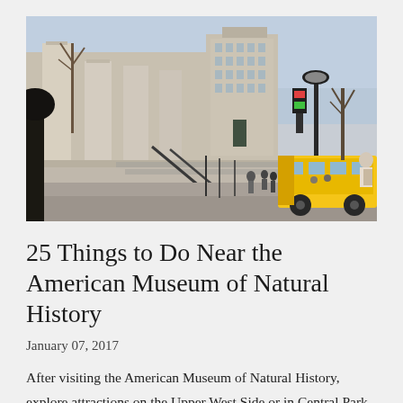[Figure (photo): Exterior photograph of the American Museum of Natural History, showing large stone columns on the left, a street scene with people, yellow school buses, and trees without leaves in winter. Buildings visible in the background under a partly cloudy sky.]
25 Things to Do Near the American Museum of Natural History
January 07, 2017
After visiting the American Museum of Natural History, explore attractions on the Upper West Side or in Central Park. Visitors